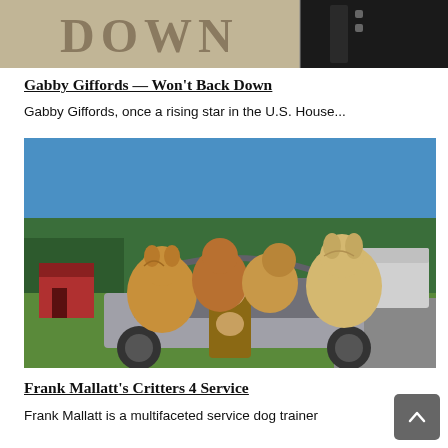[Figure (photo): Cropped image showing stone letters spelling DOWN and a person in dark clothing on the right side]
Gabby Giffords — Won't Back Down
Gabby Giffords, once a rising star in the U.S. House…
[Figure (photo): Man sitting in the open trunk of an SUV surrounded by four large fluffy golden/apricot poodle-type dogs, outdoors with trees and a red building in background]
Frank Mallatt's Critters 4 Service
Frank Mallatt is a multifaceted service dog trainer